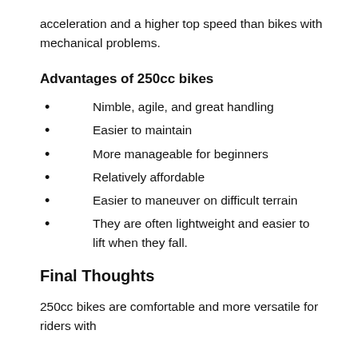acceleration and a higher top speed than bikes with mechanical problems.
Advantages of 250cc bikes
Nimble, agile, and great handling
Easier to maintain
More manageable for beginners
Relatively affordable
Easier to maneuver on difficult terrain
They are often lightweight and easier to lift when they fall.
Final Thoughts
250cc bikes are comfortable and more versatile for riders with